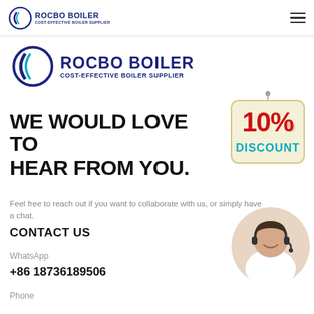ROCBO BOILER COST-EFFECTIVE BOILER SUPPLIER
[Figure (logo): Rocbo Boiler company logo with crescent/globe graphic and text ROCBO BOILER COST-EFFECTIVE BOILER SUPPLIER]
[Figure (illustration): 10% DISCOUNT badge shaped like a hanging sale tag with red and teal text]
WE WOULD LOVE TO HEAR FROM YOU.
Feel free to reach out if you want to collaborate with us, or simply have a chat.
CONTACT US
[Figure (photo): Circular photo of a smiling female customer service representative wearing a headset]
WhatsApp
+86 18736189506
Phone